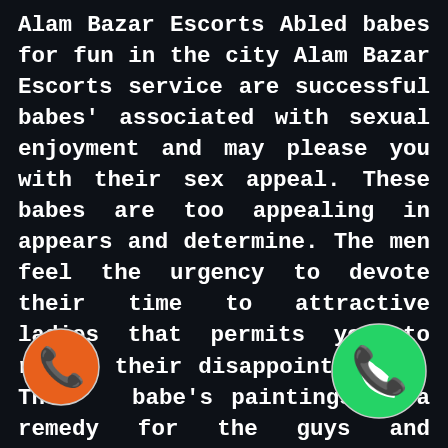Alam Bazar Escorts Abled babes for fun in the city Alam Bazar Escorts service are successful babes' associated with sexual enjoyment and may please you with their sex appeal. These babes are too appealing in appears and determine. The men feel the urgency to devote their time to attractive ladies that permits you to remove their disappointment.  The  babe's paintings as a remedy for the guys and eliminate all of the regret inner them. Call Girls in Alam Bazar Escorts can lure u sexual pride without wa  babes them. These babes prov  the spot amenity at any time of the  The right orientation
[Figure (illustration): Orange circle phone icon (call button) in bottom left corner]
[Figure (logo): WhatsApp green circle icon in bottom right corner]